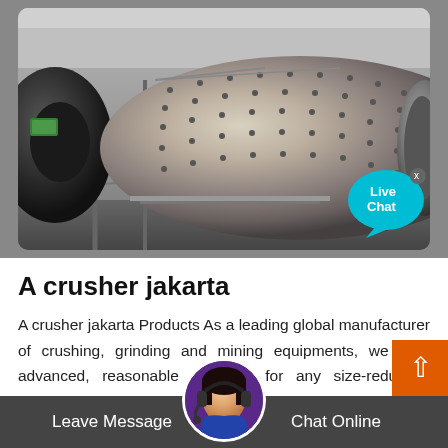[Figure (photo): Industrial ball mill / grinding machine in a factory setting. Large cylindrical drum with rivets/bolts visible, dark motor on the left, metal scaffolding, and a steel flange on the right. Background shows a warehouse interior. A Live Chat bubble is overlaid in the bottom-right corner of the image.]
A crusher jakarta
A crusher jakarta Products As a leading global manufacturer of crushing, grinding and mining equipments, we offer advanced, reasonable solutions for any size-reduction requirements including, A crusher jakarta, quarry, aggr and different kinds of mine...
Leave Message   Chat Online